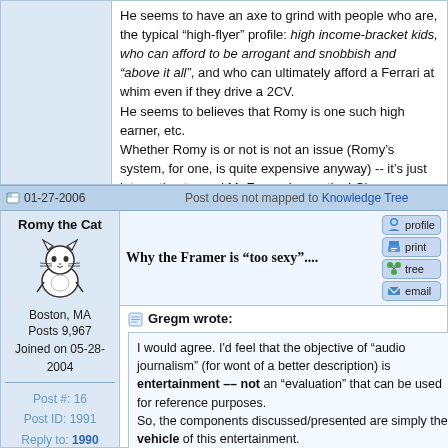He seems to have an axe to grind with people who are, the typical "high-flyer" profile: high income-bracket kids, who can afford to be arrogant and snobbish and "above it all", and who can ultimately afford a Ferrari at whim even if they drive a 2CV. He seems to believes that Romy is one such high earner, etc. Whether Romy is or not is not an issue (Romy's system, for one, is quite expensive anyway) -- it's just interesting to read Mr Fremer's reaction! Cheers
01-27-2006   Post does not mapped to Knowledge Tree
Romy the Cat
Boston, MA
Posts 9,967
Joined on 05-28-2004
Post #: 16
Post ID: 1991
Reply to: 1990
Why the Framer is “too sexy”....
Gregm wrote:
I would agree. I'd feel that the objective of "audio journalism" (for wont of a better description) is entertainment -- not an "evaluation" that can be used for reference purposes.
So, the components discussed/presented are simply the vehicle of this entertainment.
Similarly, in general public large publication (say Vogue) there are product presentations and